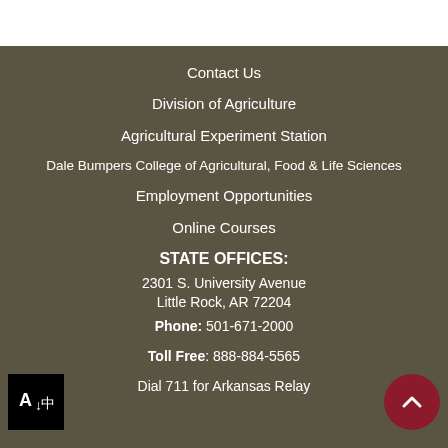Contact Us
Division of Agriculture
Agricultural Experiment Station
Dale Bumpers College of Agricultural, Food & Life Sciences
Employment Opportunities
Online Courses
STATE OFFICES:
2301 S. University Avenue
Little Rock, AR 72204
Phone: 501-671-2000
Toll Free: 888-884-5565
Dial 711 for Arkansas Relay